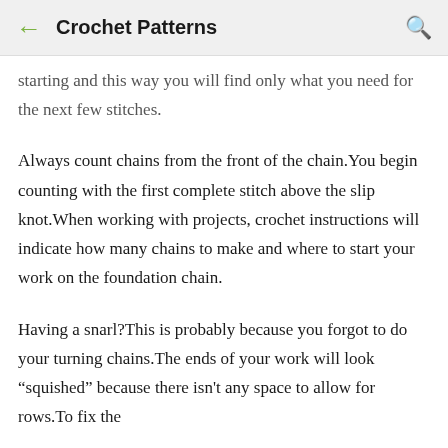Crochet Patterns
starting and this way you will find only what you need for the next few stitches.
Always count chains from the front of the chain.You begin counting with the first complete stitch above the slip knot.When working with projects, crochet instructions will indicate how many chains to make and where to start your work on the foundation chain.
Having a snarl?This is probably because you forgot to do your turning chains.The ends of your work will look “squished” because there isn't any space to allow for rows.To fix the